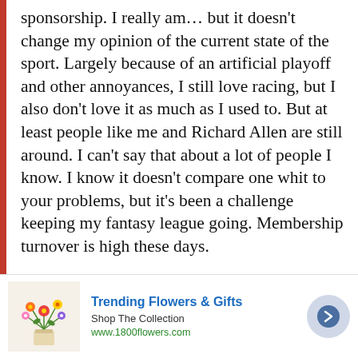sponsorship. I really am… but it doesn't change my opinion of the current state of the sport. Largely because of an artificial playoff and other annoyances, I still love racing, but I also don't love it as much as I used to. But at least people like me and Richard Allen are still around. I can't say that about a lot of people I know. I know it doesn't compare one whit to your problems, but it's been a challenge keeping my fantasy league going. Membership turnover is high these days.

For most of us citizen journalists, whiners, whatever you want to call us, our intention
[Figure (other): Advertisement banner for 1800flowers.com showing a bouquet of colorful flowers with text 'Trending Flowers & Gifts', 'Shop The Collection', 'www.1800flowers.com', and a navigation arrow button.]